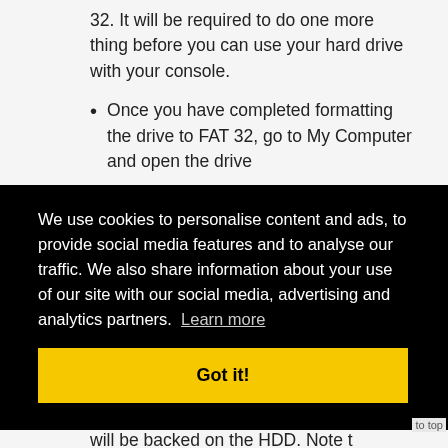32. It will be required to do one more thing before you can use your hard drive with your console.
Once you have completed formatting the drive to FAT 32, go to My Computer and open the drive
We use cookies to personalise content and ads, to provide social media features and to analyse our traffic. We also share information about your use of our site with our social media, advertising and analytics partners. Learn more
Got it!
will be backed on the HDD. Note t